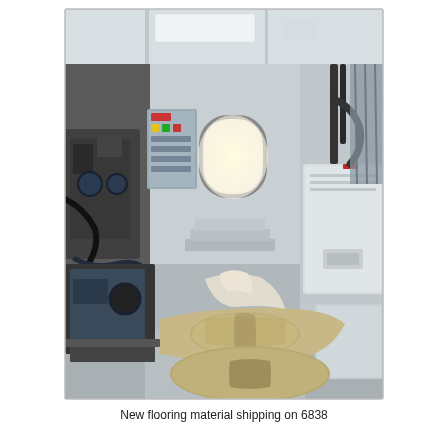[Figure (photo): Interior engine room or mechanical space of a vessel (6838), showing engines on the left side, a porthole/door opening in the center background letting in light, white/grey walls and ceiling with lighting, various pipes and cables, a large white equipment box on the right, and new flooring material (wrapped/bundled in white fabric with rope ties) laid across the deck floor in the foreground.]
New flooring material shipping on 6838